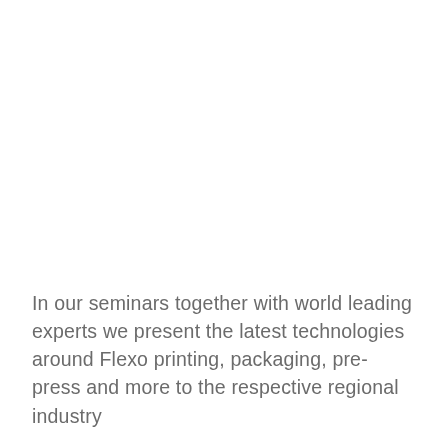In our seminars together with world leading experts we present the latest technologies around Flexo printing, packaging, pre-press and more to the respective regional industry